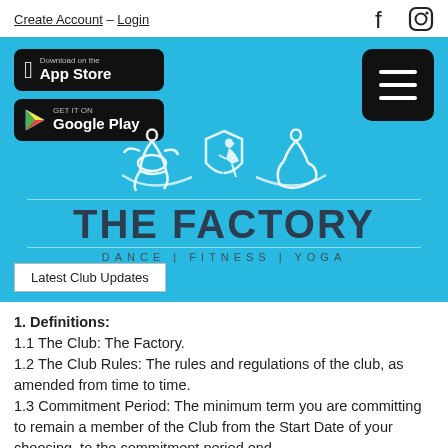Create Account – Login
[Figure (logo): The Factory Dance | Fitness | Yoga logo with hero banner including App Store and Google Play buttons, hamburger menu, and athlete silhouettes on blue background]
Latest Club Updates
1. Definitions:
1.1 The Club: The Factory.
1.2 The Club Rules: The rules and regulations of the club, as amended from time to time.
1.3 Commitment Period: The minimum term you are committing to remain a member of the Club from the Start Date of your choosing, to the commitment period end